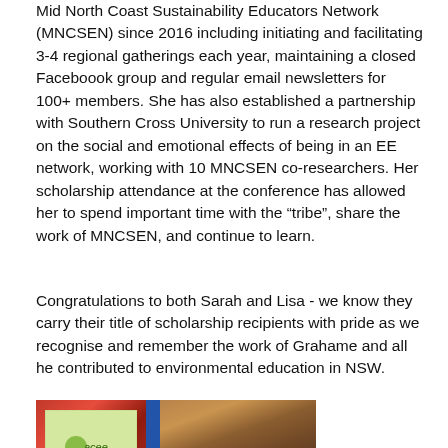Mid North Coast Sustainability Educators Network (MNCSEN) since 2016 including initiating and facilitating 3-4 regional gatherings each year, maintaining a closed Faceboook group and regular email newsletters for 100+ members. She has also established a partnership with Southern Cross University to run a research project on the social and emotional effects of being in an EE network, working with 10 MNCSEN co-researchers. Her scholarship attendance at the conference has allowed her to spend important time with the “tribe”, share the work of MNCSEN, and continue to learn.
Congratulations to both Sarah and Lisa - we know they carry their title of scholarship recipients with pride as we recognise and remember the work of Grahame and all he contributed to environmental education in NSW.
[Figure (photo): Photograph showing printed booklets and materials on a table. Left portion shows a green booklet with a logo. Middle has a blue vertical element. Right side shows a wooden or brown textured background.]